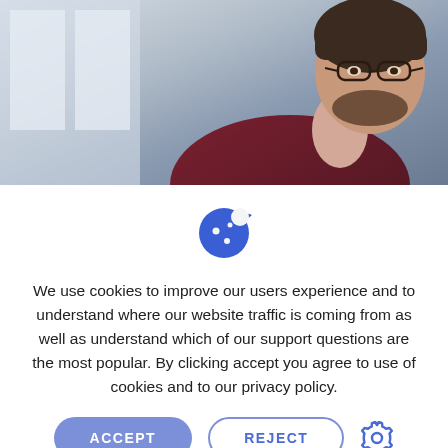[Figure (photo): Photo of a man with glasses and dark beard wearing a dark red sweater, seated, viewed from the side in a bright indoor setting.]
[Figure (illustration): Blue cookie icon with bite taken out and three dots/chips on it.]
We use cookies to improve our users experience and to understand where our website traffic is coming from as well as understand which of our support questions are the most popular. By clicking accept you agree to use of cookies and to our privacy policy.
ACCEPT
REJECT